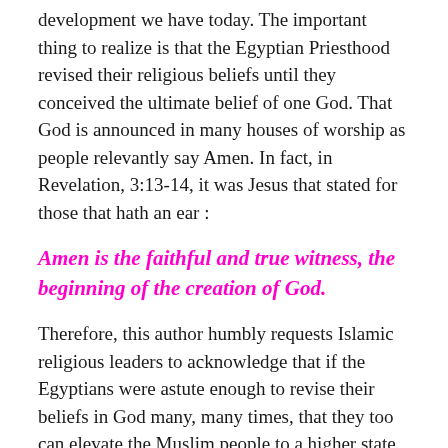development we have today. The important thing to realize is that the Egyptian Priesthood revised their religious beliefs until they conceived the ultimate belief of one God. That God is announced in many houses of worship as people relevantly say Amen. In fact, in Revelation, 3:13-14, it was Jesus that stated for those that hath an ear :
Amen is the faithful and true witness, the beginning of the creation of God.
Therefore, this author humbly requests Islamic religious leaders to acknowledge that if the Egyptians were astute enough to revise their beliefs in God many, many times, that they too can elevate the Muslim people to a higher state of spiritual development by revising the Qur'an. No Holy Book is casted in concrete; never to be updated to reflect the advancement of mankind to the next stage of